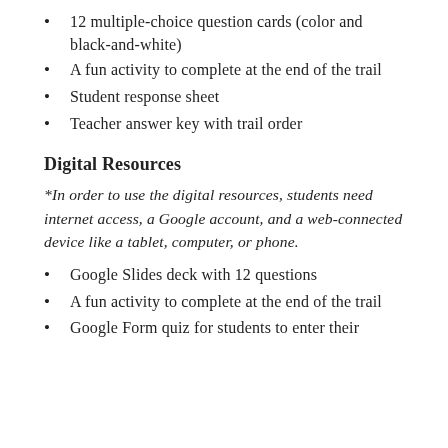12 multiple-choice question cards (color and black-and-white)
A fun activity to complete at the end of the trail
Student response sheet
Teacher answer key with trail order
Digital Resources
*In order to use the digital resources, students need internet access, a Google account, and a web-connected device like a tablet, computer, or phone.
Google Slides deck with 12 questions
A fun activity to complete at the end of the trail
Google Form quiz for students to enter their